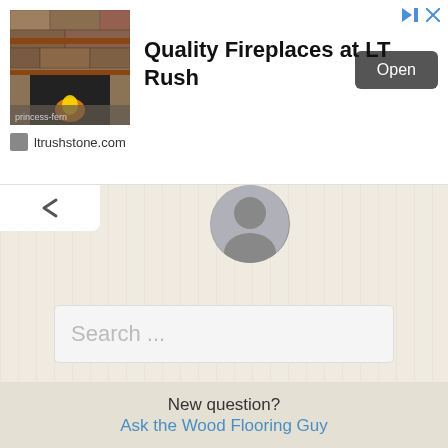[Figure (screenshot): Advertisement banner for Quality Fireplaces at LT Rush showing a stone fireplace image, Open button, and ltrushstone.com URL]
Quality Fireplaces at LT Rush
ltrushstone.com
[Figure (screenshot): Navigation back button (chevron up) and partial avatar/profile image circle]
Search ...
New question?
Ask the Wood Flooring Guy